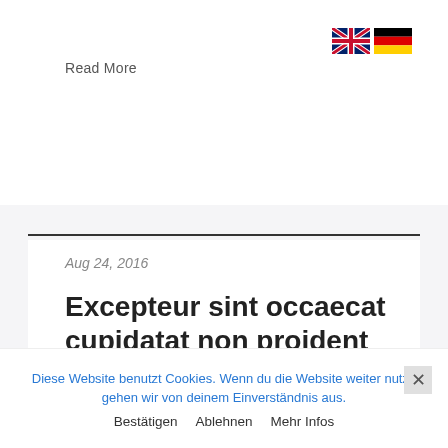Read More
[Figure (illustration): UK and German flag icons in the top right corner]
Aug 24, 2016
Excepteur sint occaecat cupidatat non proident anim id
Read More
Diese Website benutzt Cookies. Wenn du die Website weiter nutzt, gehen wir von deinem Einverständnis aus.
Bestätigen  Ablehnen  Mehr Infos